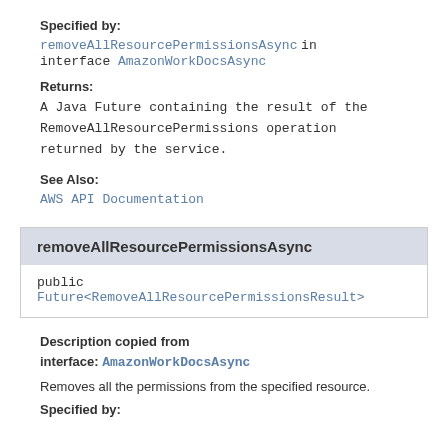Specified by:
removeAllResourcePermissionsAsync in interface AmazonWorkDocsAsync
Returns:
A Java Future containing the result of the RemoveAllResourcePermissions operation returned by the service.
See Also:
AWS API Documentation
removeAllResourcePermissionsAsync
public Future<RemoveAllResourcePermissionsResult>
Description copied from interface: AmazonWorkDocsAsync
Removes all the permissions from the specified resource.
Specified by: